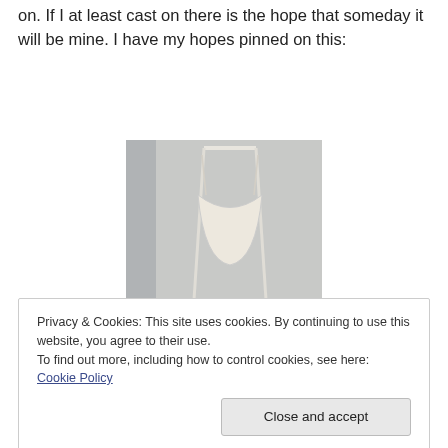on. If I at least cast on there is the hope that someday it will be mine. I have my hopes pinned on this:
[Figure (photo): A hanging hammock or baby swing made of white fabric with rope/cord, mounted or resting in a corner of a room. A black bag or case is on the floor below it.]
Privacy & Cookies: This site uses cookies. By continuing to use this website, you agree to their use.
To find out more, including how to control cookies, see here: Cookie Policy
for over an hour at a time in his hammock so far, so there